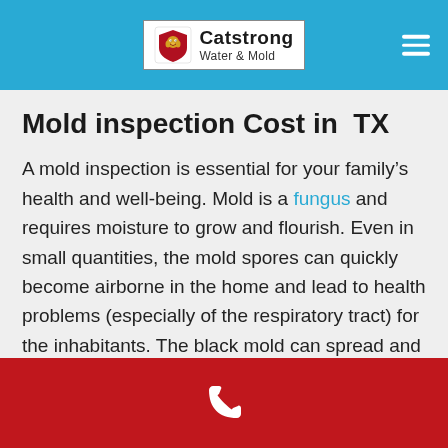Catstrong Water & Mold
Mold inspection Cost in TX
A mold inspection is essential for your family’s health and well-being. Mold is a fungus and requires moisture to grow and flourish. Even in small quantities, the mold spores can quickly become airborne in the home and lead to health problems (especially of the respiratory tract) for the inhabitants. The black mold can spread and cause extensive structural damage. This
[Figure (other): Red footer bar with white phone/call icon]